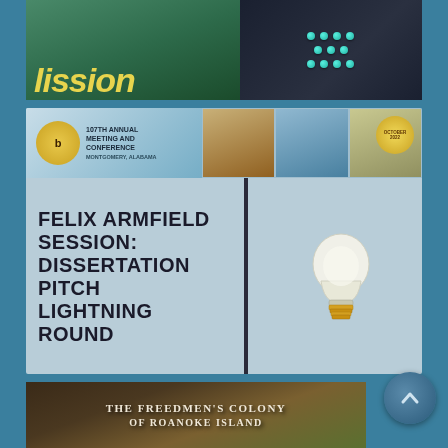[Figure (illustration): Top banner partially cropped showing bold yellow italic text 'ission' on a dark green/teal background on the left, and a dark studded fabric/clothing item with teal accent on the right]
[Figure (infographic): Conference event flyer for 'Felix Armfield Session: Dissertation Pitch Lightning Round'. Header shows '107th Annual Meeting and Conference' logo and photos. Main area has large bold title text on blue-grey background with a lightbulb graphic. QR code on left bottom. Text reads: 'Fri, Sep 30, 2:05 to 3:40pm, Montgomery Renaissance Hotel and Spa, Montgomery 5 (AV). Sign up to give a three minute presentation on your dissertation topic. Top three will get prizes. Scan the QR code to access sign up form. Sign up by September 23, 2022']
Fri, Sep 30, 2:05 to 3:40pm, Montgomery Renaissance Hotel and Spa, Montgomery 5 (AV)
Sign up to give a three minute presentation on your dissertation topic. Top three will get prizes
Scan the QR code to access sign up form. Sign up by September 23, 2022
[Figure (photo): Wooden sign reading 'THE FREEDMEN'S COLONY OF ROANOKE ISLAND' photographed close-up with blurred background]